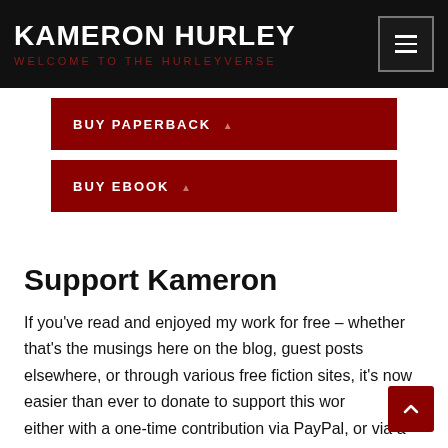KAMERON HURLEY — WELCOME TO THE HURLEYVERSE
BUY PAPERBACK
BUY EBOOK
Support Kameron
If you've read and enjoyed my work for free – whether that's the musings here on the blog, guest posts elsewhere, or through various free fiction sites, it's now easier than ever to donate to support this work, either with a one-time contribution via PayPal, or via a